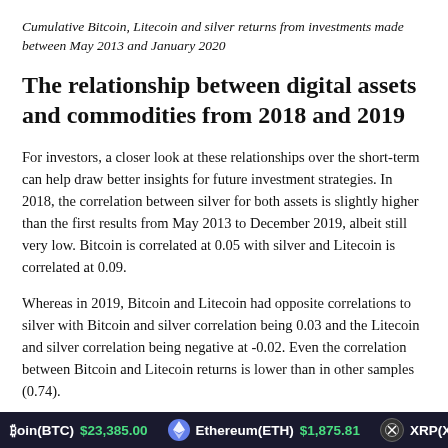Cumulative Bitcoin, Litecoin and silver returns from investments made between May 2013 and January 2020
The relationship between digital assets and commodities from 2018 and 2019
For investors, a closer look at these relationships over the short-term can help draw better insights for future investment strategies. In 2018, the correlation between silver for both assets is slightly higher than the first results from May 2013 to December 2019, albeit still very low. Bitcoin is correlated at 0.05 with silver and Litecoin is correlated at 0.09.
Whereas in 2019, Bitcoin and Litecoin had opposite correlations to silver with Bitcoin and silver correlation being 0.03 and the Litecoin and silver correlation being negative at -0.02. Even the correlation between Bitcoin and Litecoin returns is lower than in other samples (0.74).
Nonetheless, both results are very close to 0, which leads us to believe that the correlation between these assets is not
Bitcoin(BTC) $23,385.00   Ethereum(ETH) $1,875.81   XRP(XRP)